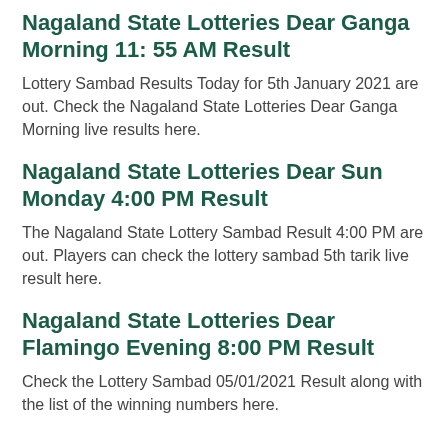Nagaland State Lotteries Dear Ganga Morning 11: 55 AM Result
Lottery Sambad Results Today for 5th January 2021 are out. Check the Nagaland State Lotteries Dear Ganga Morning live results here.
Nagaland State Lotteries Dear Sun Monday 4:00 PM Result
The Nagaland State Lottery Sambad Result 4:00 PM are out. Players can check the lottery sambad 5th tarik live result here.
Nagaland State Lotteries Dear Flamingo Evening 8:00 PM Result
Check the Lottery Sambad 05/01/2021 Result along with the list of the winning numbers here.